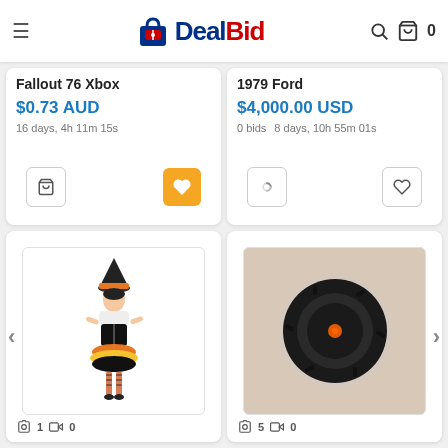[Figure (logo): DealBid logo with shopping bag icon, Deal in blue and Bid in red]
Fallout 76 Xbox
$0.73 AUD
16 days, 4h 11m 15s
1979 Ford
$4,000.00 USD
0 bids   8 days, 10h 55m 01s
[Figure (photo): Woman wearing a Halloween witch costume with candy corn color skirt and striped stockings]
📷 1  🎥 0
[Figure (photo): Black circular disc/wheel object with an orange center dot, photographed on white background]
📷 5  🎥 0